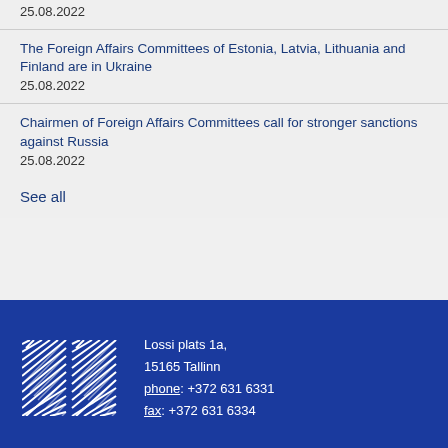25.08.2022
The Foreign Affairs Committees of Estonia, Latvia, Lithuania and Finland are in Ukraine
25.08.2022
Chairmen of Foreign Affairs Committees call for stronger sanctions against Russia
25.08.2022
See all
Lossi plats 1a,
15165 Tallinn
phone: +372 631 6331
fax: +372 631 6334